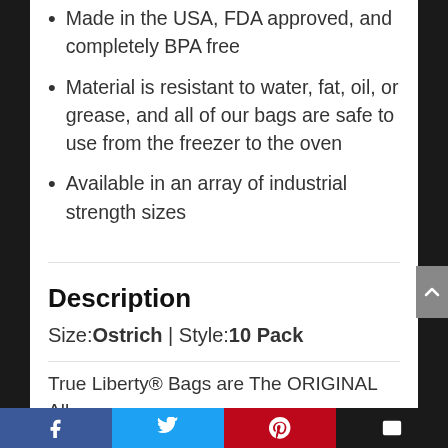Made in the USA, FDA approved, and completely BPA free
Material is resistant to water, fat, oil, or grease, and all of our bags are safe to use from the freezer to the oven
Available in an array of industrial strength sizes
Description
Size:Ostrich  |  Style:10 Pack
True Liberty® Bags are The ORIGINAL All-